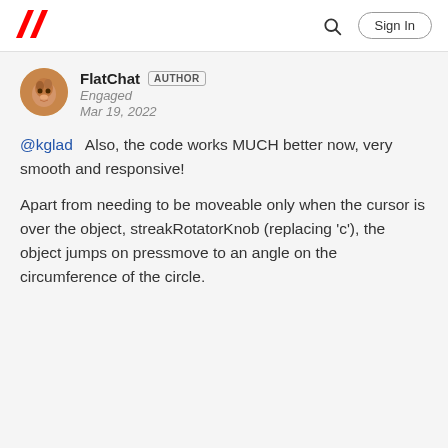Adobe [logo] | [search icon] | Sign In
FlatChat  AUTHOR
Engaged
Mar 19, 2022
@kglad  Also, the code works MUCH better now, very smooth and responsive!

Apart from needing to be moveable only when the cursor is over the object, streakRotatorKnob (replacing 'c'), the object jumps on pressmove to an angle on the circumference of the circle.